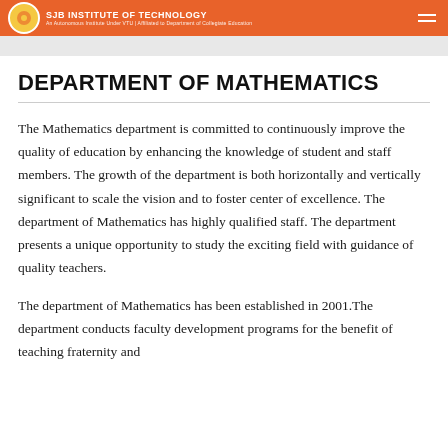SJB INSTITUTE OF TECHNOLOGY
DEPARTMENT OF MATHEMATICS
The Mathematics department is committed to continuously improve the quality of education by enhancing the knowledge of student and staff members. The growth of the department is both horizontally and vertically significant to scale the vision and to foster center of excellence. The department of Mathematics has highly qualified staff. The department presents a unique opportunity to study the exciting field with guidance of quality teachers.
The department of Mathematics has been established in 2001.The department conducts faculty development programs for the benefit of teaching fraternity and